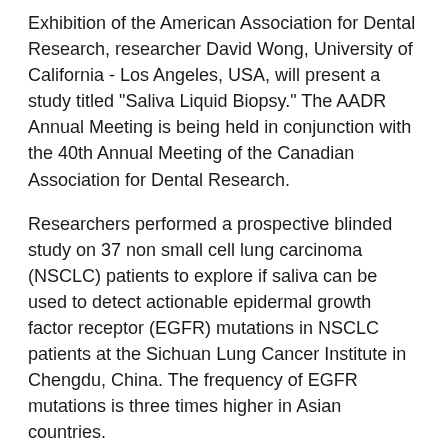Exhibition of the American Association for Dental Research, researcher David Wong, University of California - Los Angeles, USA, will present a study titled "Saliva Liquid Biopsy." The AADR Annual Meeting is being held in conjunction with the 40th Annual Meeting of the Canadian Association for Dental Research.
Researchers performed a prospective blinded study on 37 non small cell lung carcinoma (NSCLC) patients to explore if saliva can be used to detect actionable epidermal growth factor receptor (EGFR) mutations in NSCLC patients at the Sichuan Lung Cancer Institute in Chengdu, China. The frequency of EGFR mutations is three times higher in Asian countries.
For each patient, both pre- and post-biopsy/surgery, plasma and saliva were collected. Codes were removed from samples and blinded. Biopsy tissues were genotyped for EGFR L858R and exon 19del by digital PCR (ddPCR) while plasma and saliva were assayed for same EGFR mutations by electric field induced released and measurement (EFIRM). The results were statistically analyzed at the MD Anderson Cancer Center for concordance